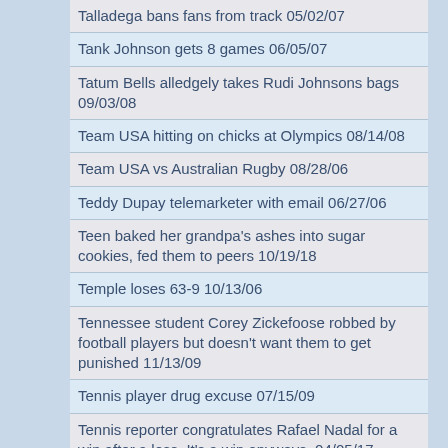Talladega bans fans from track 05/02/07
Tank Johnson gets 8 games 06/05/07
Tatum Bells alledgely takes Rudi Johnsons bags 09/03/08
Team USA hitting on chicks at Olympics 08/14/08
Team USA vs Australian Rugby 08/28/06
Teddy Dupay telemarketer with email 06/27/06
Teen baked her grandpa's ashes into sugar cookies, fed them to peers 10/19/18
Temple loses 63-9 10/13/06
Tennessee student Corey Zickefoose robbed by football players but doesn't want them to get punished 11/13/09
Tennis player drug excuse 07/15/09
Tennis reporter congratulates Rafael Nadal for a win after a loss. It's a win anyways. 04/05/17
Terence In Sierra Madre 2002 2002
Terrell Owens is not selfish 10/18/07
Terrell Owens Once Again To 09/29/08
Terrell Owens oversleeps 08/29/06
Terrell Owens-Hour 1 09/27/06
Terrell Owens-Hour 2 09/27/06
Terrell Owens-Hour 3 09/27/06
Terrell Pryor to Ohio State 03/19/08